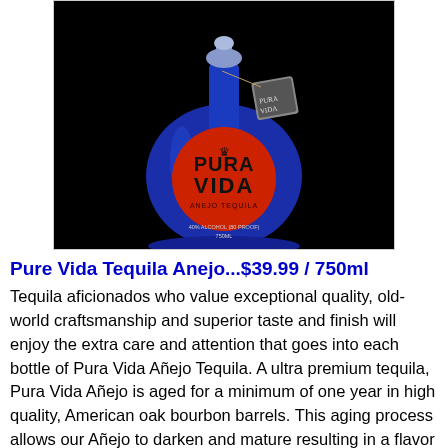[Figure (photo): A blue teardrop-shaped bottle of Pura Vida Tequila Anejo with a red circular label and a branded hang tag, photographed against a black background.]
Pure Vida Tequila Anejo...$39.99 / 750ml
Tequila aficionados who value exceptional quality, old-world craftsmanship and superior taste and finish will enjoy the extra care and attention that goes into each bottle of Pura Vida Añejo Tequila.  A ultra premium tequila, Pura Vida Añejo is aged for a minimum of one year in high quality, American oak bourbon barrels. This aging process allows our Añejo to darken and mature resulting in a flavor that's smoother